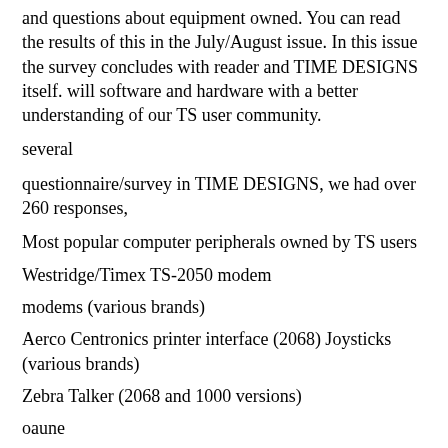and questions about equipment owned. You can read the results of this in the July/August issue. In this issue the survey concludes with reader and TIME DESIGNS itself. will software and hardware with a better understanding of our TS user community.
several
questionnaire/survey in TIME DESIGNS, we had over 260 responses,
Most popular computer peripherals owned by TS users
Westridge/Timex TS-2050 modem
modems (various brands)
Aerco Centronics printer interface (2068) Joysticks (various brands)
Zebra Talker (2068 and 1000 versions)
oaune
Software package that is used most frequently:
MSCRIPT (2068 word processor) TASWORD II (2068 word